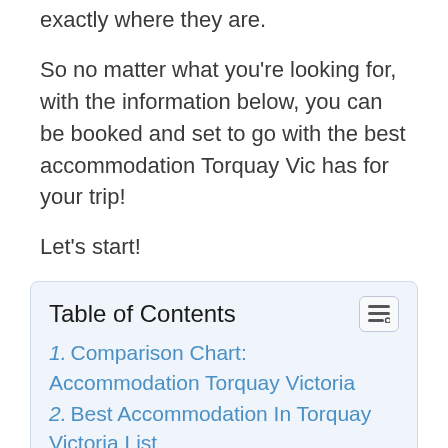exactly where they are.
So no matter what you're looking for, with the information below, you can be booked and set to go with the best accommodation Torquay Vic has for your trip!
Let's start!
| Table of Contents |
| --- |
| 1. Comparison Chart: Accommodation Torquay Victoria |
| 2. Best Accommodation In Torquay Victoria List |